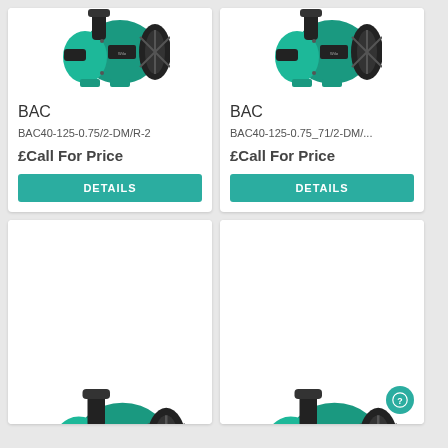[Figure (photo): Green Wilo BAC centrifugal pump motor unit, left product card top]
BAC
BAC40-125-0.75/2-DM/R-2
£Call For Price
DETAILS
[Figure (photo): Green Wilo BAC centrifugal pump motor unit, right product card top]
BAC
BAC40-125-0.75_71/2-DM/...
£Call For Price
DETAILS
[Figure (photo): Green Wilo pump partial view, bottom left card]
[Figure (photo): Green Wilo pump partial view, bottom right card]